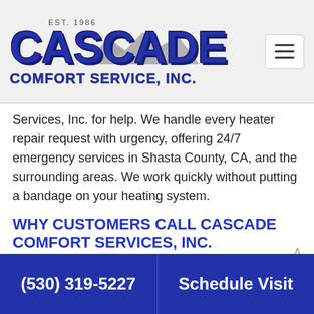Cascade Comfort Service, Inc. EST. 1986
Services, Inc. for help. We handle every heater repair request with urgency, offering 24/7 emergency services in Shasta County, CA, and the surrounding areas. We work quickly without putting a bandage on your heating system.
WHY CUSTOMERS CALL CASCADE COMFORT SERVICES, INC.
You have many choices when hiring a heating repair company in Shasta County, CA. Here's why home and business owners choose Cascade Comfort Services, Inc.:
(530) 319-5227   Schedule Visit